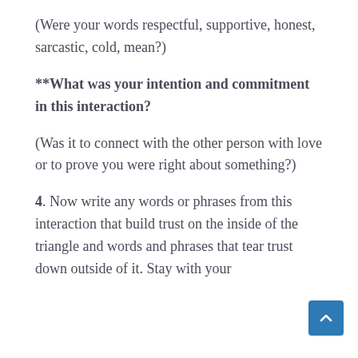(Were your words respectful, supportive, honest, sarcastic, cold, mean?)
**What was your intention and commitment in this interaction?
(Was it to connect with the other person with love or to prove you were right about something?)
4. Now write any words or phrases from this interaction that build trust on the inside of the triangle and words and phrases that tear trust down outside of it. Stay with your